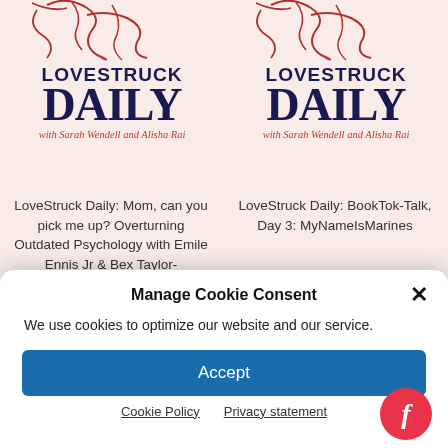[Figure (illustration): Left podcast card: abstract line art of a face in dark red, above 'LOVESTRUCK DAILY with Sarah Wendell and Alisha Rai' logo]
LoveStruck Daily: Mom, can you pick me up? Overturning Outdated Psychology with Emile Ennis Jr & Bex Taylor-
[Figure (illustration): Right podcast card: abstract line art of a face in dark red, above 'LOVESTRUCK DAILY with Sarah Wendell and Alisha Rai' logo]
LoveStruck Daily: BookTok-Talk, Day 3: MyNameIsMarines
Manage Cookie Consent
We use cookies to optimize our website and our service.
Accept
Cookie Policy    Privacy statement